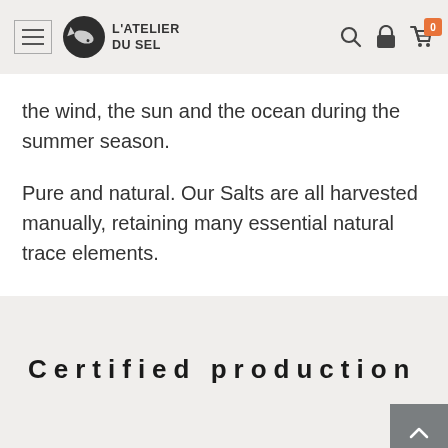L'ATELIER DU SEL
the wind, the sun and the ocean during the summer season.
Pure and natural. Our Salts are all harvested manually, retaining many essential natural trace elements.
Certified production